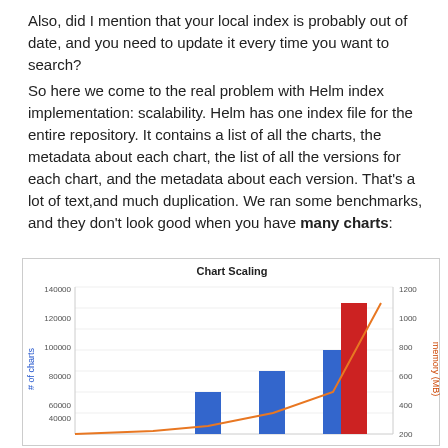Also, did I mention that your local index is probably out of date, and you need to update it every time you want to search?
So here we come to the real problem with Helm index implementation: scalability. Helm has one index file for the entire repository. It contains a list of all the charts, the metadata about each chart, the list of all the versions for each chart, and the metadata about each version. That's a lot of text,and much duplication. We ran some benchmarks, and they don't look good when you have many charts:
[Figure (bar-chart): Bar chart with secondary y-axis (memory MB). Blue bars show # of charts, orange line shows memory usage. Bars increase from ~40000 to ~80000 to ~125000. Orange line curves upward sharply to ~1100 MB.]